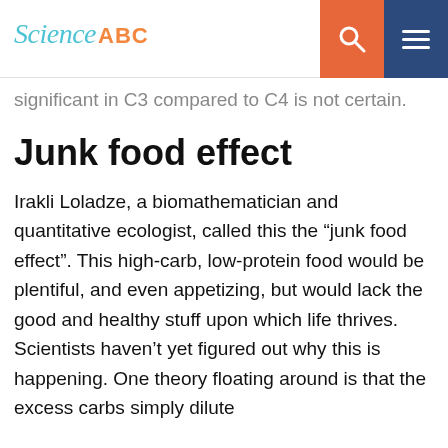Science ABC
significant in C3 compared to C4 is not certain.
Junk food effect
Irakli Loladze, a biomathematician and quantitative ecologist, called this the “junk food effect”. This high-carb, low-protein food would be plentiful, and even appetizing, but would lack the good and healthy stuff upon which life thrives. Scientists haven’t yet figured out why this is happening. One theory floating around is that the excess carbs simply dilute